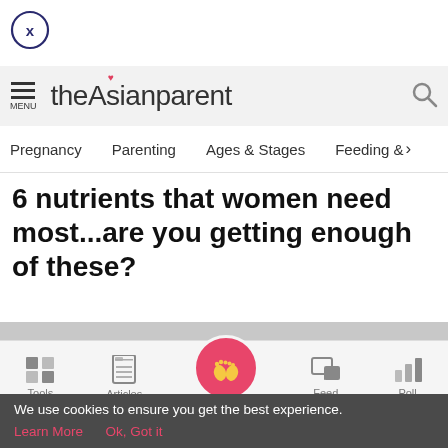[Figure (screenshot): Close button X in circle, top left]
theAsianparent — MENU | Search icon
Pregnancy  Parenting  Ages & Stages  Feeding & >
6 nutrients that women need most...are you getting enough of these?
[Figure (photo): Gray image placeholder area]
[Figure (screenshot): Bottom navigation bar with Tools, Articles, Home (pink circle with baby feet), Feed, Poll icons]
We use cookies to ensure you get the best experience.
Learn More   Ok, Got it